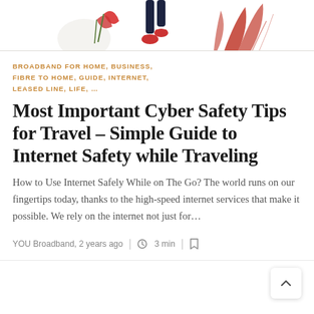[Figure (illustration): Decorative illustration showing a person walking with red shoes among plants and foliage, partially cropped at top]
BROADBAND FOR HOME, BUSINESS, FIBRE TO HOME, GUIDE, INTERNET, LEASED LINE, LIFE, ...
Most Important Cyber Safety Tips for Travel – Simple Guide to Internet Safety while Traveling
How to Use Internet Safely While on The Go? The world runs on our fingertips today, thanks to the high-speed internet services that make it possible. We rely on the internet not just for…
YOU Broadband, 2 years ago  |  3 min  |